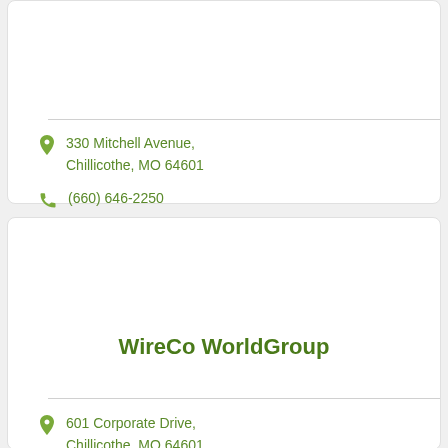330 Mitchell Avenue, Chillicothe, MO 64601
(660) 646-2250
WireCo WorldGroup
601 Corporate Drive, Chillicothe, MO 64601